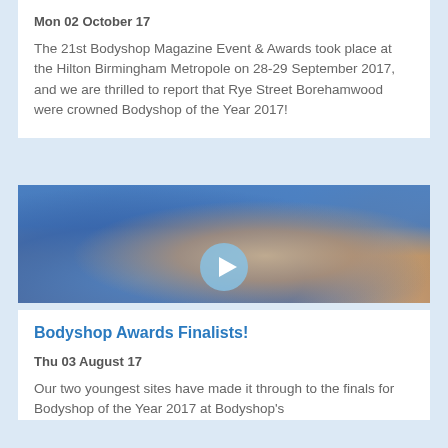Mon 02 October 17
The 21st Bodyshop Magazine Event & Awards took place at the Hilton Birmingham Metropole on 28-29 September 2017, and we are thrilled to report that Rye Street Borehamwood were crowned Bodyshop of the Year 2017!
[Figure (photo): A person wearing a blue shirt with fingers crossed, shown from the waist down. A semi-transparent play button circle overlay is visible in the lower center of the image.]
Bodyshop Awards Finalists!
Thu 03 August 17
Our two youngest sites have made it through to the finals for Bodyshop of the Year 2017 at Bodyshop's